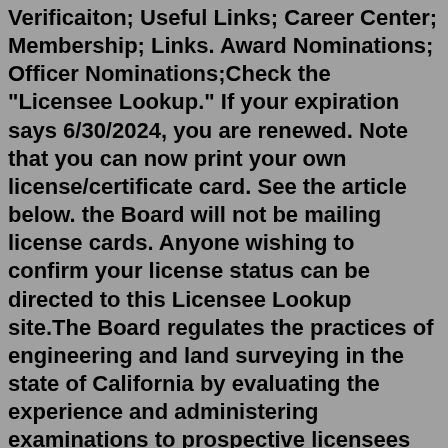Verificaiton; Useful Links; Career Center; Membership; Links. Award Nominations; Officer Nominations;Check the "Licensee Lookup." If your expiration says 6/30/2024, you are renewed. Note that you can now print your own license/certificate card. See the article below. the Board will not be mailing license cards. Anyone wishing to confirm your license status can be directed to this Licensee Lookup site.The Board regulates the practices of engineering and land surveying in the state of California by evaluating the experience and administering examinations to prospective licensees and by enforcing the laws regulating licensed professional engineers and land surveyors. Includes links to laws and rules regulating the two professions.License Search. Commercial License Search; Personal License Search; Professional License. Search - Personal License. Need to search for a Commercial License? ... The North Dakota State Board of Registration for Professional Engineers and Land Surveyors was established by the state legislature to